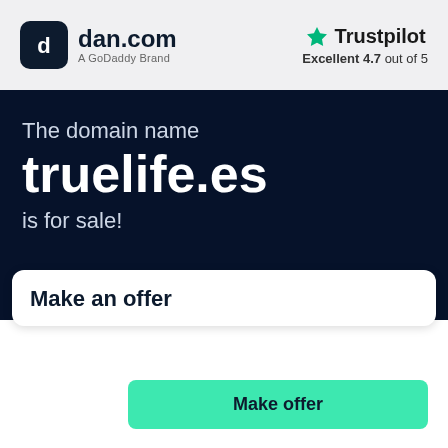[Figure (logo): dan.com logo with dark rounded square icon and text 'dan.com' with subtitle 'A GoDaddy Brand']
[Figure (logo): Trustpilot logo with green star and text 'Trustpilot', rating 'Excellent 4.7 out of 5']
The domain name truelife.es is for sale!
Make an offer
Make offer